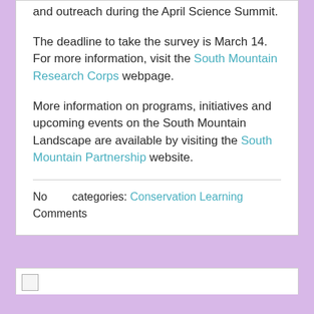and outreach during the April Science Summit.
The deadline to take the survey is March 14. For more information, visit the South Mountain Research Corps webpage.
More information on programs, initiatives and upcoming events on the South Mountain Landscape are available by visiting the South Mountain Partnership website.
No     categories: Conservation Learning
Comments
[Figure (other): Broken image placeholder at the bottom of the page]